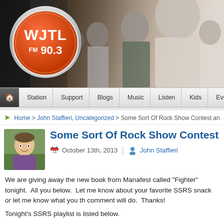[Figure (photo): WJTL FM 90.3 radio station website header with orange logo circle and crowd of people at an event in the background]
Station | Support | Blogs | Music | Listen | Kids | Events
Home > John Staffieri, Uncategorized > Some Sort Of Rock Show Contest an
Some Sort Of Rock Show Contest a
October 13th, 2013   John Staffieri
We are giving away the new book from Manafest called “Fighter” tonight.  All you below.  Let me know about your favorite SSRS snack or let me know what you th comment will do.  Thanks!
Tonight's SSRS playlist is listed below.